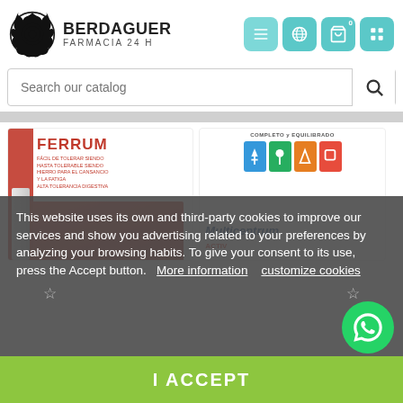[Figure (logo): Berdaguer Farmacia 24H logo with circular saw blade icon]
[Figure (screenshot): Navigation icons: hamburger menu, globe, shopping cart (0), and extra button in teal rounded squares]
Search our catalog
[Figure (photo): Product card for FERRUM iron supplement with red packaging]
[Figure (photo): Product card for Multicentrum multivitamin with colorful icons and blue text]
This website uses its own and third-party cookies to improve our services and show you advertising related to your preferences by analyzing your browsing habits. To give your consent to its use, press the Accept button.  More information   customize cookies
I ACCEPT